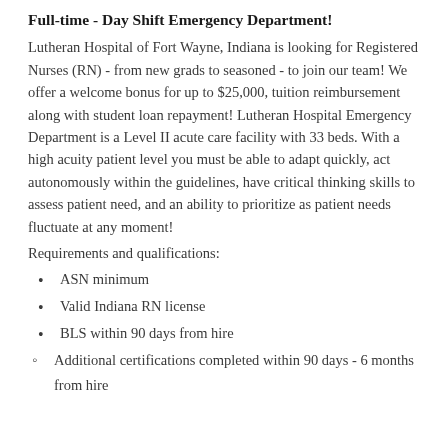Full-time - Day Shift Emergency Department!
Lutheran Hospital of Fort Wayne, Indiana is looking for Registered Nurses (RN) - from new grads to seasoned - to join our team! We offer a welcome bonus for up to $25,000, tuition reimbursement along with student loan repayment! Lutheran Hospital Emergency Department is a Level II acute care facility with 33 beds. With a high acuity patient level you must be able to adapt quickly, act autonomously within the guidelines, have critical thinking skills to assess patient need, and an ability to prioritize as patient needs fluctuate at any moment!
Requirements and qualifications:
ASN minimum
Valid Indiana RN license
BLS within 90 days from hire
Additional certifications completed within 90 days - 6 months from hire